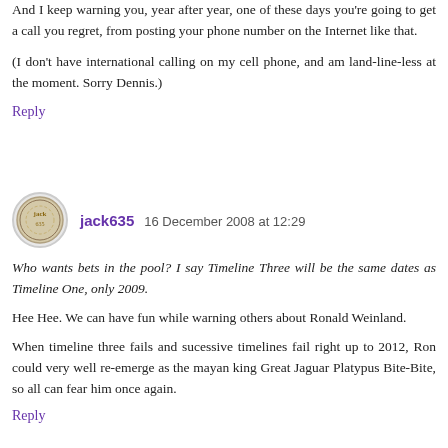And I keep warning you, year after year, one of these days you're going to get a call you regret, from posting your phone number on the Internet like that.
(I don't have international calling on my cell phone, and am land-line-less at the moment. Sorry Dennis.)
Reply
jack635  16 December 2008 at 12:29
Who wants bets in the pool? I say Timeline Three will be the same dates as Timeline One, only 2009.
Hee Hee. We can have fun while warning others about Ronald Weinland.
When timeline three fails and sucessive timelines fail right up to 2012, Ron could very well re-emerge as the mayan king Great Jaguar Platypus Bite-Bite, so all can fear him once again.
Reply